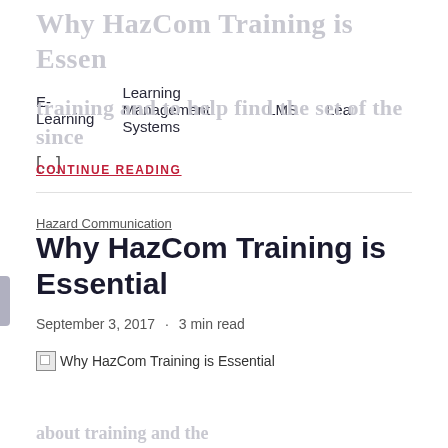E-Learning  Learning Management Systems  LMS  Lear
[...]
CONTINUE READING
Hazard Communication
Why HazCom Training is Essential
September 3, 2017 · 3 min read
[Figure (photo): Broken image placeholder for 'Why HazCom Training is Essential']
Why HazCom Training is Essential